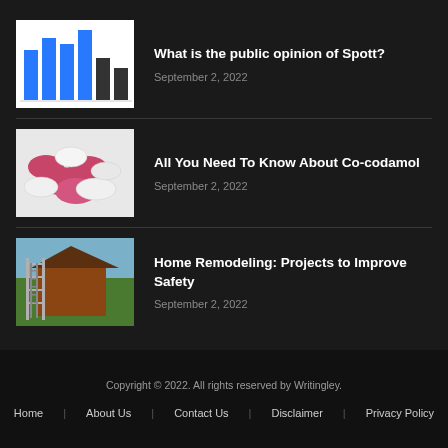[Figure (bar-chart): Bar chart thumbnail with blue and dark bars]
What is the public opinion of Spott?
September 2, 2022
[Figure (photo): Pills photo — pink and white tablets]
All You Need To Know About Co-codamol
September 2, 2022
[Figure (photo): House under construction with scaffolding]
Home Remodeling: Projects to Improve Safety
September 2, 2022
Copyright © 2022. All rights reserved by Writingley.
Home | About Us | Contact Us | Disclaimer | Privacy Policy